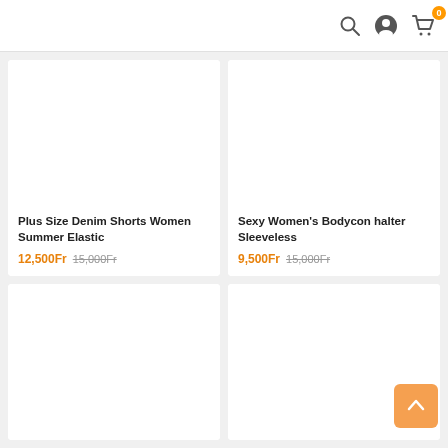Navigation bar with search, profile, and cart (0 items) icons
[Figure (screenshot): Product card: Plus Size Denim Shorts Women Summer Elastic, -17% discount badge, price 12,500Fr (was 15,000Fr)]
Plus Size Denim Shorts Women Summer Elastic
12,500Fr  15,000Fr
[Figure (screenshot): Product card: Sexy Women's Bodycon halter Sleeveless, -37% discount badge, price 9,500Fr (was 15,000Fr)]
Sexy Women's Bodycon halter Sleeveless
9,500Fr  15,000Fr
[Figure (screenshot): Product card with -27% discount badge, partially visible]
[Figure (screenshot): Product card with -21% discount badge, partially visible]